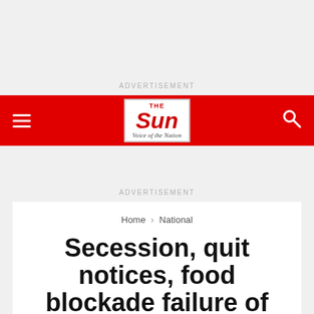ADVERTISEMENT
[Figure (logo): The Sun newspaper logo — red masthead with 'THE SUN' in bold italic white/red, tagline 'Voice of the Nation' below, on a red navigation bar with hamburger menu and search icon]
ADVERTISEMENT
Home > National
Secession, quit notices, food blockade failure of good